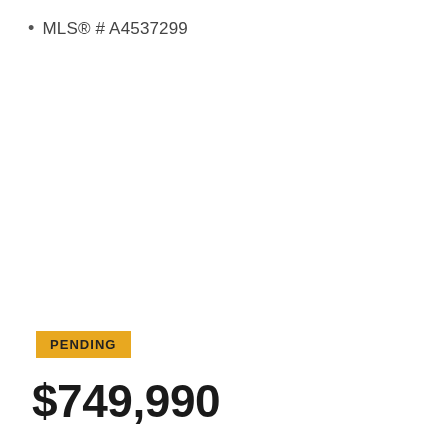MLS® # A4537299
PENDING
$749,990